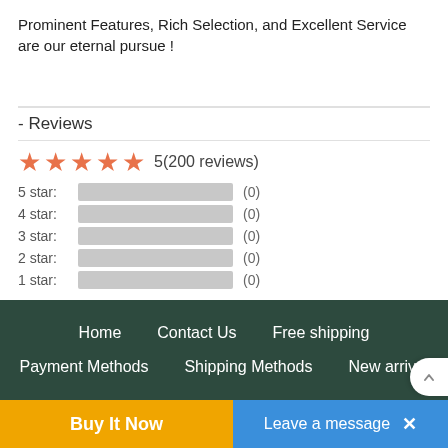Prominent Features, Rich Selection, and Excellent Service are our eternal pursue !
- Reviews
[Figure (infographic): 5 orange stars rating display with text '5(200 reviews)' and a breakdown of star ratings (5 star through 1 star) each showing a grey bar and count of (0)]
Home   Contact Us   Free shipping   Payment Methods   Shipping Methods   New arrivel
Buy It Now
Leave a message  ×